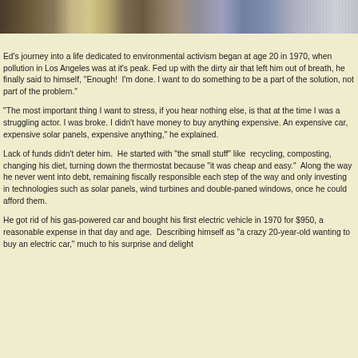[Figure (photo): Photo of people seated, viewed from behind, in a meeting or classroom setting.]
Ed's journey into a life dedicated to environmental activism began at age 20 in 1970, when pollution in Los Angeles was at it's peak. Fed up with the dirty air that left him out of breath, he finally said to himself, "Enough!  I'm done. I want to do something to be a part of the solution, not part of the problem."
"The most important thing I want to stress, if you hear nothing else, is that at the time I was a struggling actor. I was broke. I didn't have money to buy anything expensive. An expensive car, expensive solar panels, expensive anything," he explained.
Lack of funds didn't deter him.  He started with "the small stuff" like  recycling, composting, changing his diet, turning down the thermostat because "it was cheap and easy."  Along the way he never went into debt, remaining fiscally responsible each step of the way and only investing in technologies such as solar panels, wind turbines and double-paned windows, once he could afford them.
He got rid of his gas-powered car and bought his first electric vehicle in 1970 for $950, a reasonable expense in that day and age.  Describing himself as "a crazy 20-year-old wanting to buy an electric car," much to his surprise and delight